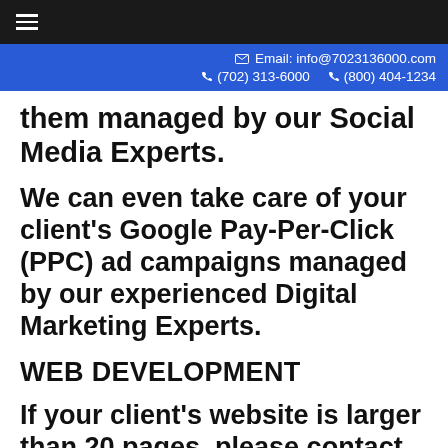Email: info@7023136000.com  (702) 313-6000  (800) 404-1234
them managed by our Social Media Experts.
We can even take care of your client's Google Pay-Per-Click (PPC) ad campaigns managed by our experienced Digital Marketing Experts.
WEB DEVELOPMENT
If your client's website is larger than 20 pages, please contact us for pricing.
If your client needs their current site